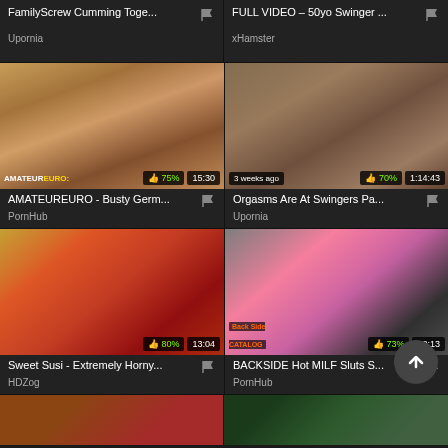FamilyScrew Cumming Toge...
Upornia
FULL VIDEO – 50yo Swinger ...
xHamster
[Figure (photo): Video thumbnail - AMATEUREURO content, 75% rating, duration 15:30]
AMATEUREURO - Busty Germ...
PornHub
[Figure (photo): Video thumbnail - swingers content, 3 weeks ago, 70% rating, duration 1:14:43]
Orgasms Are At Swingers Pa...
Upornia
[Figure (photo): Video thumbnail - group content, 80% rating, duration 13:04]
Sweet Susi - Extremely Horny...
HDZog
[Figure (photo): Video thumbnail - BACKSIDE MILF content, 73% rating, duration 10:13]
BACKSIDE Hot MILF Sluts S...
PornHub
[Figure (photo): Partial video thumbnail bottom left]
[Figure (photo): Partial video thumbnail bottom right]